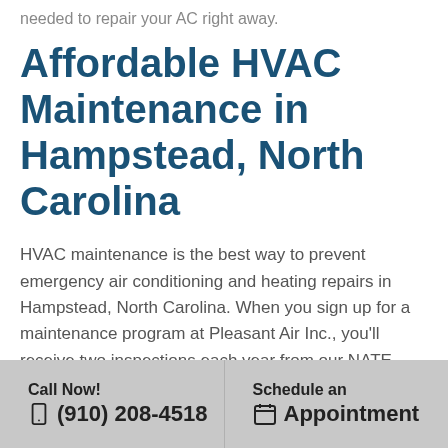needed to repair your AC right away.
Affordable HVAC Maintenance in Hampstead, North Carolina
HVAC maintenance is the best way to prevent emergency air conditioning and heating repairs in Hampstead, North Carolina. When you sign up for a maintenance program at Pleasant Air Inc., you'll receive two inspections each year from our NATE-certified service techs. You'll also benefit from deep discounts on
Call Now! (910) 208-4518 | Schedule an Appointment